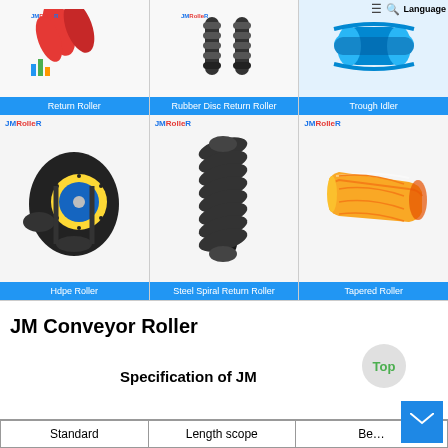[Figure (photo): Return Roller product card with red cylindrical rollers and JMRolleR logo, blue label at bottom]
[Figure (photo): Rubber Disc Return Roller product card with black ribbed rollers and JMRolleR logo, blue label]
[Figure (photo): Trough Idler product card with blue roller assembly and nav icons, blue label]
[Figure (photo): Hdpe Roller product card with black and yellow circular roller, JMRolleR logo, blue label]
[Figure (photo): Steel Spiral Return Roller product card with black spiral roller, JMRolleR logo, blue label]
[Figure (photo): Tapered Roller product card with yellow tapered roller, JMRolleR logo, blue label]
JM Conveyor Roller
Specification of JM
| Standard | Length scope | Be... |
| --- | --- | --- |